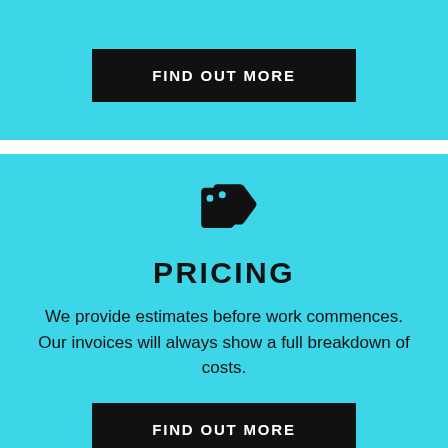[Figure (other): FIND OUT MORE button (black rectangle with white uppercase text) on cyan background, top section]
[Figure (other): Price tag icon (double tag shape, black) on cyan background]
PRICING
We provide estimates before work commences. Our invoices will always show a full breakdown of costs.
[Figure (other): FIND OUT MORE button (black rectangle with white uppercase text) on cyan background, bottom section]